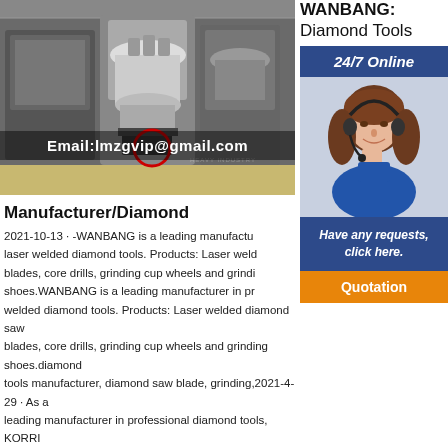[Figure (photo): Industrial machinery (cone crushers/heavy equipment) in a factory setting, with red circle highlight and email overlay 'Email:lmzgvip@gmail.com']
Manufacturer/Diamond
2021-10-13 · -WANBANG is a leading manufacturer laser welded diamond tools. Products: Laser welded blades, core drills, grinding cup wheels and grinding shoes.WANBANG is a leading manufacturer in producing welded diamond tools. Products: Laser welded diamond saw blades, core drills, grinding cup wheels and grinding shoes.diamond tools manufacturer, diamond saw blade, grinding,2021-4-29 · As a leading manufacturer in professional diamond tools, KORRI specialized in producing and developing all kinds of diamond tools, such as diamond saw blade, grinding cup wheel and diamond drill
[Figure (photo): Sidebar with WANBANG: Diamond Tools branding, 24/7 Online banner, female customer service agent with headset, 'Have any requests, click here.' text, and Quotation button]
WANBANG:
Diamond Tools
24/7 Online
Have any requests, click here.
Quotation